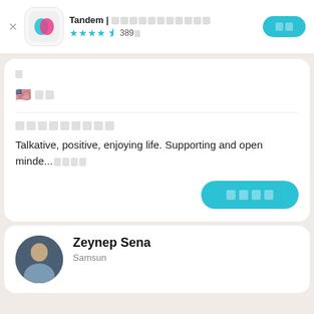Tandem | [squares] ★★★★½ 389件
[box character]
🇺🇸 英語
[username boxes]
Talkative, positive, enjoying life. Supporting and open minde...[more]
[action button]
Zeynep Sena
Samsun